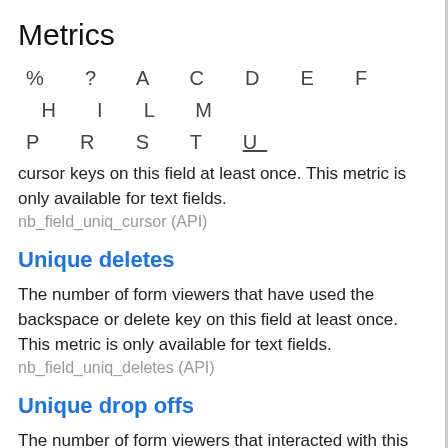Metrics
% ? A C D E F H I L M P R S T U
cursor keys on this field at least once. This metric is only available for text fields.
nb_field_uniq_cursor (API)
Unique deletes
The number of form viewers that have used the backspace or delete key on this field at least once. This metric is only available for text fields.
nb_field_uniq_deletes (API)
Unique drop offs
The number of form viewers that interacted with this field last, when they did not submit the form.